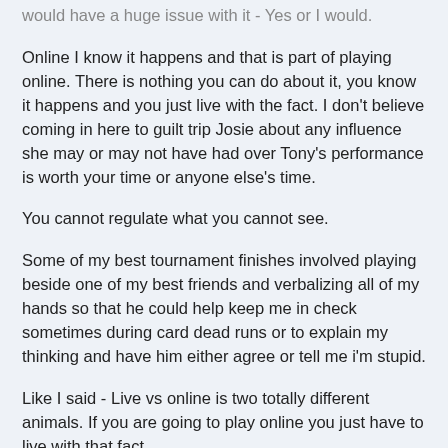would have a huge issue with it - Yes or I would.
Online I know it happens and that is part of playing online. There is nothing you can do about it, you know it happens and you just live with the fact. I don't believe coming in here to guilt trip Josie about any influence she may or may not have had over Tony's performance is worth your time or anyone else's time.
You cannot regulate what you cannot see.
Some of my best tournament finishes involved playing beside one of my best friends and verbalizing all of my hands so that he could help keep me in check sometimes during card dead runs or to explain my thinking and have him either agree or tell me i'm stupid.
Like I said - Live vs online is two totally different animals. If you are going to play online you just have to live with that fact.
I do not think Josie did anything wrong and would have no issues if she was even telling Tony what she would do once in a while.